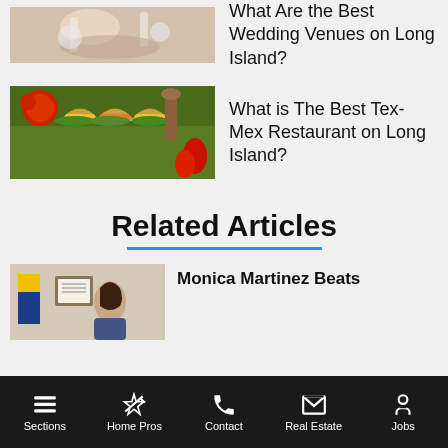[Figure (photo): Photo of hands clinking glasses at a wedding, partially cropped at top of page]
What Are the Best Wedding Venues on Long Island?
[Figure (photo): Photo of Tex-Mex food: tacos, burritos, tomatoes, peppers with colorful toppings]
What is The Best Tex-Mex Restaurant on Long Island?
Related Articles
[Figure (photo): Photo of a woman standing in front of flags and a framed certificate on the wall]
Monica Martinez Beats
Sections   Home Pros   Contact   Real Estate   Jobs